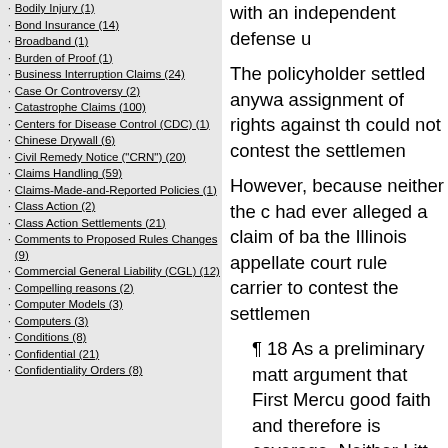Bodily Injury (1)
Bond Insurance (14)
Broadband (1)
Burden of Proof (1)
Business Interruption Claims (24)
Case Or Controversy (2)
Catastrophe Claims (100)
Centers for Disease Control (CDC) (1)
Chinese Drywall (6)
Civil Remedy Notice ("CRN") (20)
Claims Handling (59)
Claims-Made-and-Reported Policies (1)
Class Action (2)
Class Action Settlements (21)
Comments to Proposed Rules Changes (9)
Commercial General Liability (CGL) (12)
Compelling reasons (2)
Computer Models (3)
Computers (3)
Conditions (8)
Confidential (21)
Confidentiality Orders (8)
with an independent defense u...
The policyholder settled anywa... assignment of rights against th... could not contest the settlemen...
However, because neither the c... had ever alleged a claim of ba... the Illinois appellate court rule... carrier to contest the settlemen...
¶ 18 As a preliminary matt... argument that First Mercu... good faith and therefore is... coverage. Neither Litt nor... countercomplaint alleging... refusal to settle. (Citation ... therefore not properly befo...